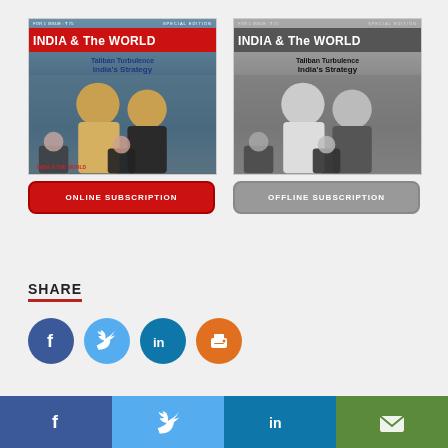[Figure (illustration): Color magazine cover of 'INDIA & The World' special edition showing headlines 'Taliban Turbulence India's Strategy' with political figures]
ONLINE SUBSCRIPTION
[Figure (illustration): Black and white magazine cover of 'INDIA & The World' special edition showing headlines 'Taliban Turbulence India's Strategy' with political figures in grayscale]
OFFLINE SUBSCRIPTION
SHARE
[Figure (infographic): Social media sharing buttons: Facebook (blue circle), Twitter (light blue circle), LinkedIn (teal circle), Print (orange circle)]
Facebook | Twitter | LinkedIn | Email — bottom navigation bar